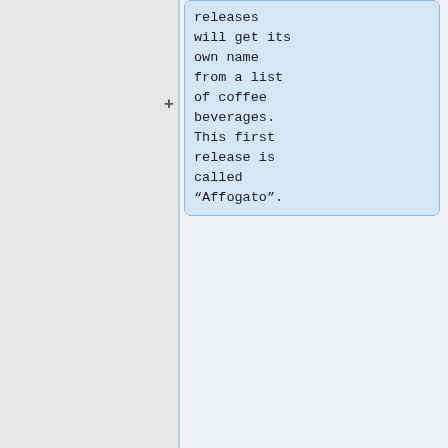releases will get its own name from a list of coffee beverages. This first release is called “Affogato”.
<div class="mw-collapsible-content" style="width:100%">
All work for each release [http://...